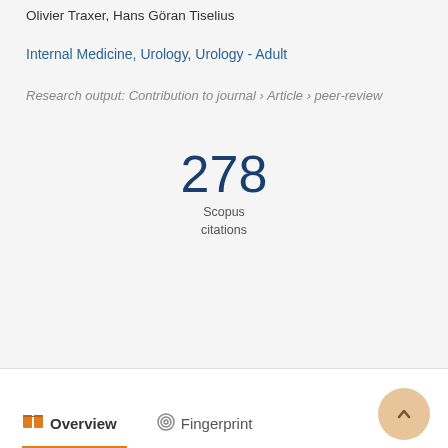Olivier Traxer, Hans Göran Tiselius
Internal Medicine, Urology, Urology - Adult
Research output: Contribution to journal › Article › peer-review
278 Scopus citations
Overview  Fingerprint